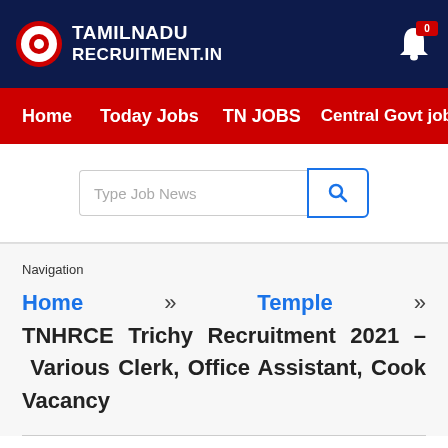TAMILNADU RECRUITMENT.IN
Home   Today Jobs   TN JOBS   Central Govt jobs
[Figure (screenshot): Search bar with placeholder text 'Type Job News' and a blue search button]
Navigation
Home » Temple » TNHRCE Trichy Recruitment 2021 – Various Clerk, Office Assistant, Cook Vacancy